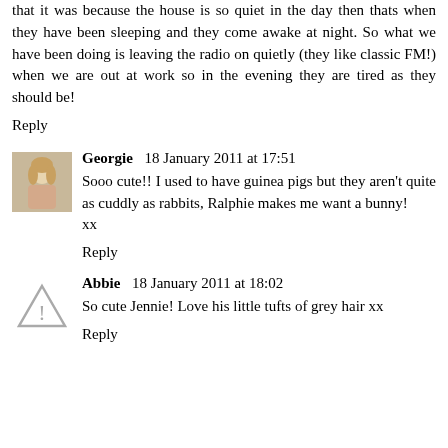that it was because the house is so quiet in the day then thats when they have been sleeping and they come awake at night. So what we have been doing is leaving the radio on quietly (they like classic FM!) when we are out at work so in the evening they are tired as they should be!
Reply
Georgie  18 January 2011 at 17:51
Sooo cute!! I used to have guinea pigs but they aren't quite as cuddly as rabbits, Ralphie makes me want a bunny!
xx
Reply
Abbie  18 January 2011 at 18:02
So cute Jennie! Love his little tufts of grey hair xx
Reply